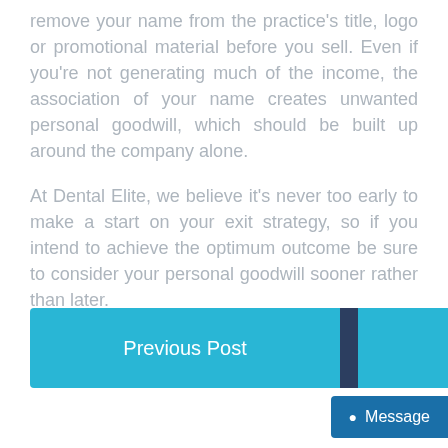remove your name from the practice's title, logo or promotional material before you sell. Even if you're not generating much of the income, the association of your name creates unwanted personal goodwill, which should be built up around the company alone.
At Dental Elite, we believe it's never too early to make a start on your exit strategy, so if you intend to achieve the optimum outcome be sure to consider your personal goodwill sooner rather than later.
[Figure (other): Navigation bar with two buttons: 'Previous Post' on the left (cyan/blue background) and 'Next Post' on the right (cyan/blue background), separated by a dark navy divider strip.]
[Figure (other): Chat/Message button in dark blue at bottom right, with a circle bullet and 'Message' text.]